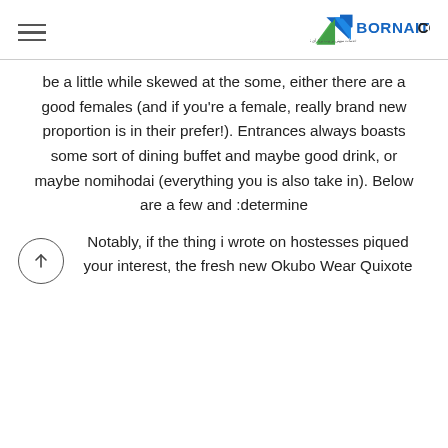BORNAITCO
be a little while skewed at the some, either there are a good females (and if you’re a female, really brand new proportion is in their prefer!). Entrances always boasts some sort of dining buffet and maybe good drink, or maybe nomihodai (everything you is also take in). Below are a few and :determine
Notably, if the thing i wrote on hostesses piqued your interest, the fresh new Okubo Wear Quixote